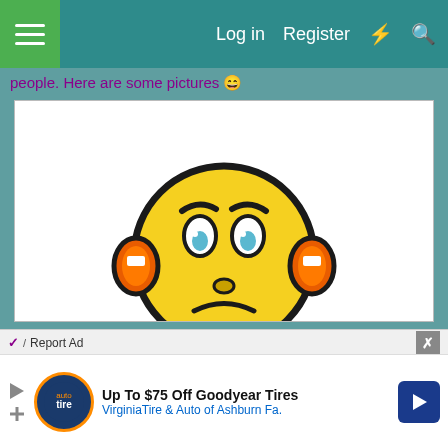Log in  Register
people. Here are some pictures 😄
[Figure (illustration): TinyPic placeholder image: a yellow unhappy smiley face character with headphones and blue feet, with the TinyPic logo below it. Text reads: This image is no longer available. Visit tinypic.com for more information.]
Report Ad
[Figure (screenshot): Advertisement: Up To $75 Off Goodyear Tires - VirginiaTire & Auto of Ashburn Fa.]